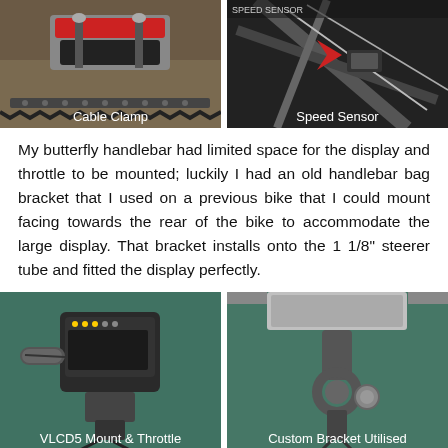[Figure (photo): Photo of a cable clamp component, showing a red and black clamp on a textured surface with a zipper visible]
Cable Clamp
[Figure (photo): Photo of a speed sensor mounted on a bicycle frame with cables and a red arrow visible]
Speed Sensor
My butterfly handlebar had limited space for the display and throttle to be mounted; luckily I had an old handlebar bag bracket that I used on a previous bike that I could mount facing towards the rear of the bike to accommodate the large display. That bracket installs onto the 1 1/8" steerer tube and fitted the display perfectly.
[Figure (photo): Photo of VLCD5 display mount and throttle assembly mounted on bicycle handlebars, shown from front against teal/green background]
VLCD5 Mount & Throttle
[Figure (photo): Photo of a custom bracket utilised for mounting the display on a bicycle steerer tube, shown on teal/green background]
Custom Bracket Utilised